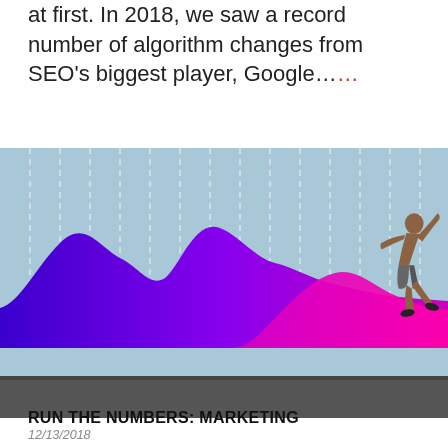at first. In 2018, we saw a record number of algorithm changes from SEO's biggest player, Google....
[Figure (photo): A sprinting athlete overlaid on a stylized area chart with purple and magenta waves, with dashed vertical lines on a light blue background]
12/13/2018
RUN THE NUMBERS: MARKETING